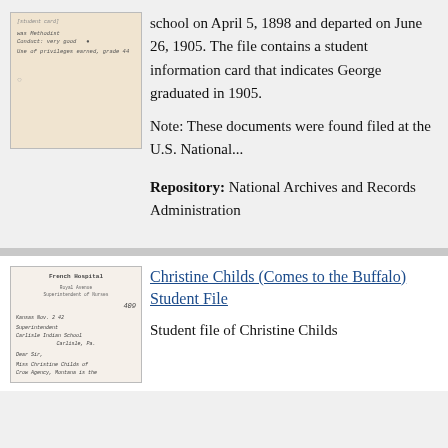[Figure (photo): Scanned handwritten document card with cursive writing, faded pinkish paper]
school on April 5, 1898 and departed on June 26, 1905. The file contains a student information card that indicates George graduated in 1905.
Note: These documents were found filed at the U.S. National...
Repository:  National Archives and Records Administration
[Figure (photo): Scanned handwritten letter on French Hospital letterhead with cursive writing addressed to Carlisle Indian School]
Christine Childs (Comes to the Buffalo) Student File
Student file of Christine Childs